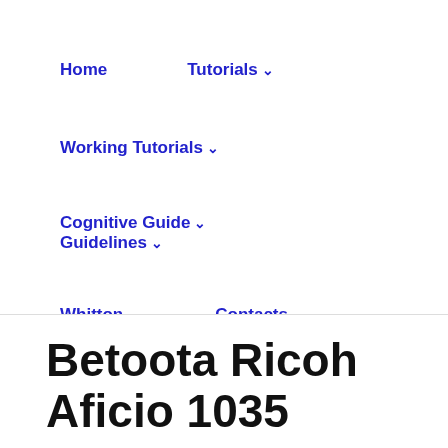Home   Tutorials ∨   Working Tutorials ∨   Cognitive Guide ∨   Guidelines ∨   Whitton ∨   Contacts
Betoota Ricoh Aficio 1035